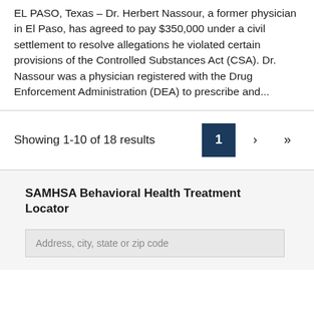EL PASO, Texas – Dr. Herbert Nassour, a former physician in El Paso, has agreed to pay $350,000 under a civil settlement to resolve allegations he violated certain provisions of the Controlled Substances Act (CSA). Dr. Nassour was a physician registered with the Drug Enforcement Administration (DEA) to prescribe and...
Showing 1-10 of 18 results
SAMHSA Behavioral Health Treatment Locator
Address, city, state or zip code